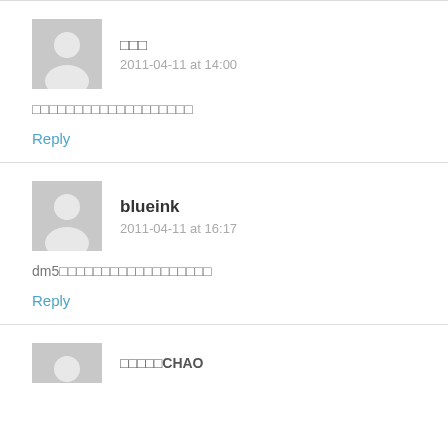□□□
2011-04-11 at 14:00
□□□□□□□□□□□□□□□□□□□
Reply
blueink
2011-04-11 at 16:17
dm5□□□□□□□□□□□□□□□□□□
Reply
□□□□□CHAO